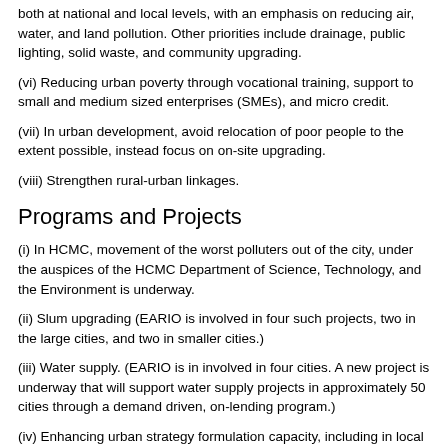both at national and local levels, with an emphasis on reducing air, water, and land pollution. Other priorities include drainage, public lighting, solid waste, and community upgrading.
(vi) Reducing urban poverty through vocational training, support to small and medium sized enterprises (SMEs), and micro credit.
(vii) In urban development, avoid relocation of poor people to the extent possible, instead focus on on-site upgrading.
(viii) Strengthen rural-urban linkages.
Programs and Projects
(i) In HCMC, movement of the worst polluters out of the city, under the auspices of the HCMC Department of Science, Technology, and the Environment is underway.
(ii) Slum upgrading (EARIO is involved in four such projects, two in the large cities, and two in smaller cities.)
(iii) Water supply. (EARIO is in involved in four cities. A new project is underway that will support water supply projects in approximately 50 cities through a demand driven, on-lending program.)
(iv) Enhancing urban strategy formulation capacity, including in local economic development. (EARIO has been involved in Haiphong and HCMC and intends to broaden its involvement in this area through its Cities Development Strategies program.)